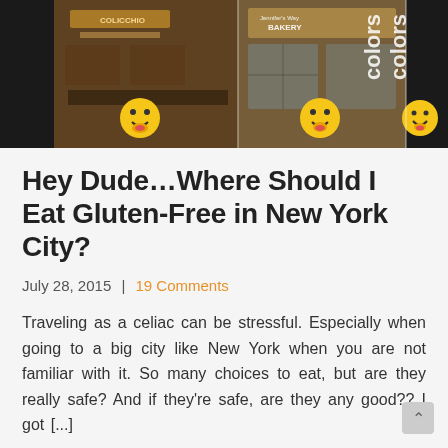[Figure (photo): Three-panel photo collage showing gluten-free restaurant storefronts in New York City. Left panel shows a restaurant exterior with signage and a smiley emoji overlay. Center panel shows a bakery window (Jennifer's Way Bakery) with a smiley emoji overlay. Right panel shows dark storefront doors with vertical text reading 'colors' and a smiley emoji overlay.]
Hey Dude…Where Should I Eat Gluten-Free in New York City?
July 28, 2015  |  19 Comments
Traveling as a celiac can be stressful. Especially when going to a big city like New York when you are not familiar with it. So many choices to eat, but are they really safe? And if they're safe, are they any good?? I got [...]